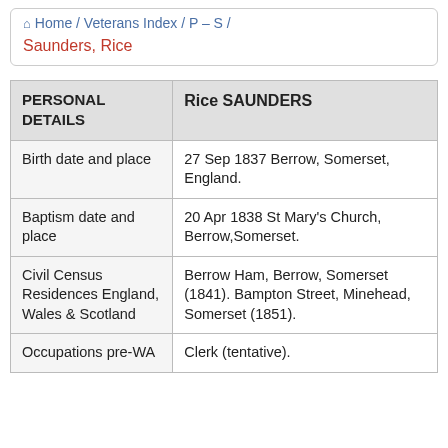Home / Veterans Index / P – S /
Saunders, Rice
| PERSONAL DETAILS | Rice SAUNDERS |
| --- | --- |
| Birth date and place | 27 Sep 1837 Berrow, Somerset, England. |
| Baptism date and place | 20 Apr 1838 St Mary's Church, Berrow,Somerset. |
| Civil Census Residences England, Wales & Scotland | Berrow Ham, Berrow, Somerset (1841). Bampton Street, Minehead, Somerset (1851). |
| Occupations pre-WA | Clerk (tentative). |